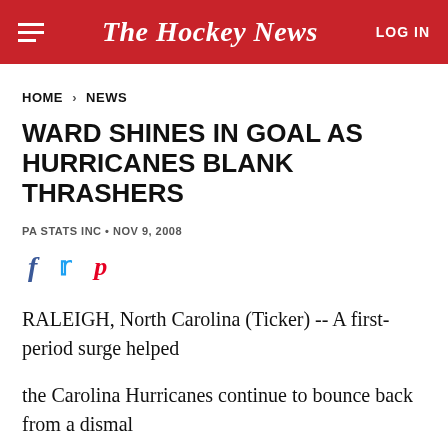The Hockey News  LOG IN
HOME > NEWS
WARD SHINES IN GOAL AS HURRICANES BLANK THRASHERS
PA STATS INC • NOV 9, 2008
[Figure (other): Social sharing icons: Facebook, Twitter, Pinterest]
RALEIGH, North Carolina (Ticker) -- A first-period surge helped
the Carolina Hurricanes continue to bounce back from a dismal